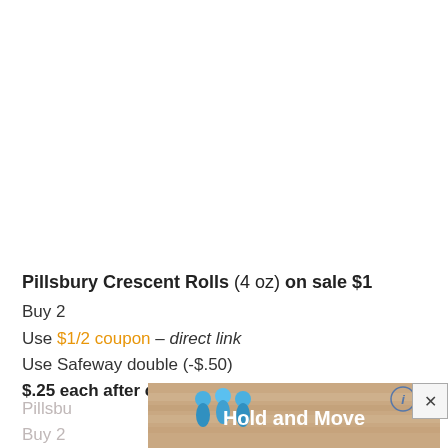Pillsbury Crescent Rolls (4 oz) on sale $1
Buy 2
Use $1/2 coupon – direct link
Use Safeway double (-$.50)
$.25 each after coupon & double
[Figure (other): Advertisement banner showing 'Hold and Move' with blue figures and a close button overlay]